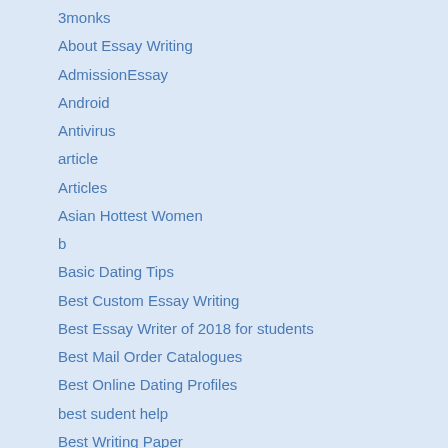3monks
About Essay Writing
AdmissionEssay
Android
Antivirus
article
Articles
Asian Hottest Women
b
Basic Dating Tips
Best Custom Essay Writing
Best Essay Writer of 2018 for students
Best Mail Order Catalogues
Best Online Dating Profiles
best sudent help
Best Writing Paper
Bets
Betting